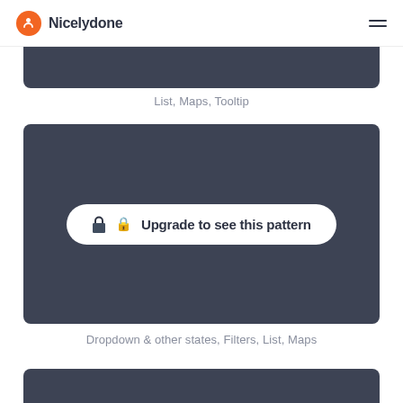Nicelydone
[Figure (screenshot): Dark gray card UI element, partially visible at top (cropped)]
List, Maps, Tooltip
[Figure (screenshot): Dark gray card with a white rounded button overlay reading 'Upgrade to see this pattern' with a lock icon]
Dropdown & other states, Filters, List, Maps
[Figure (screenshot): Dark gray card UI element, partially visible at bottom (cropped)]